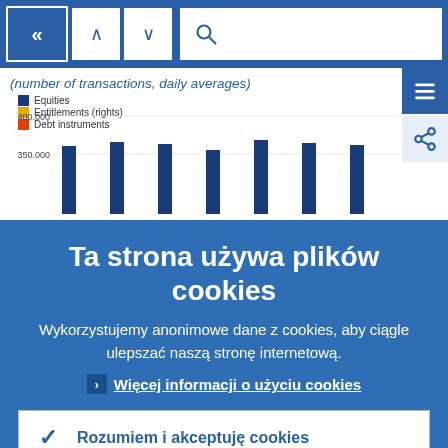[Figure (screenshot): Navigation bar with back arrow (<<), up and down arrows, and a search box with magnifying glass icon]
(number of transactions, daily averages)
[Figure (bar-chart): Partially visible bar chart showing Equities (blue), Entitlements/rights (yellow), Debt instruments (orange) with y-axis values 400,000 and 350,000 visible]
Ta strona używa plików cookies
Wykorzystujemy anonimowe dane z cookies, aby ciągle ulepszać naszą stronę internetową.
Więcej informacji o użyciu cookies
Rozumiem i akceptuję cookies
Nie akceptuję cookies